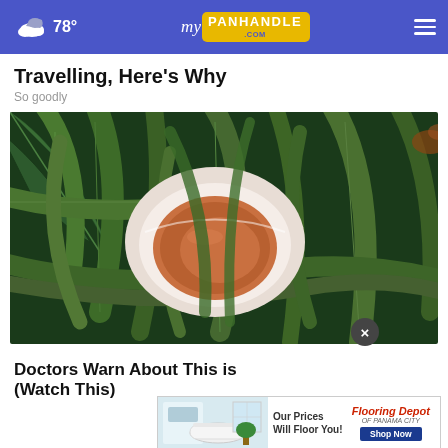78° myPanhandle.com
Travelling, Here's Why
So goodly
[Figure (photo): Overhead view of a cup of herbal tea surrounded by green leaves and plants]
Doctors Warn About This (Wa...
[Figure (photo): Advertisement for Flooring Depot of Panama City - Our Prices Will Floor You! Shop Now]